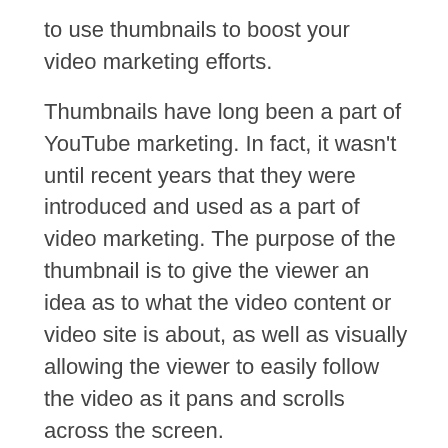to use thumbnails to boost your video marketing efforts.
Thumbnails have long been a part of YouTube marketing. In fact, it wasn't until recent years that they were introduced and used as a part of video marketing. The purpose of the thumbnail is to give the viewer an idea as to what the video content or video site is about, as well as visually allowing the viewer to easily follow the video as it pans and scrolls across the screen.
Currently, the suggested videos that are shown on the YouTube home page can be changed by any user at anytime. However, these suggested videos are only applicable to users in certain location areas. In addition, there is currently no way for a user to select what area he/she wants to view a video. For example,